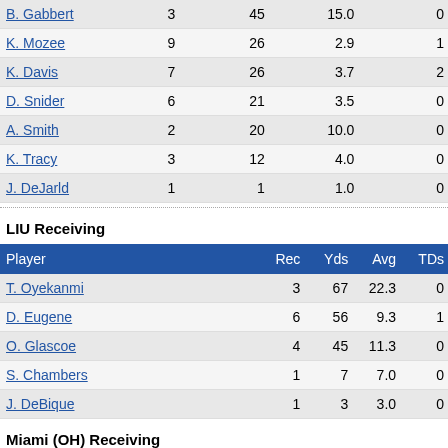| Player | Rec | Yds | Avg | TDs |
| --- | --- | --- | --- | --- |
| B. Gabbert | 3 | 45 | 15.0 | 0 |
| K. Mozee | 9 | 26 | 2.9 | 1 |
| K. Davis | 7 | 26 | 3.7 | 2 |
| D. Snider | 6 | 21 | 3.5 | 0 |
| A. Smith | 2 | 20 | 10.0 | 0 |
| K. Tracy | 3 | 12 | 4.0 | 0 |
| J. DeJarld | 1 | 1 | 1.0 | 0 |
LIU Receiving
| Player | Rec | Yds | Avg | TDs |
| --- | --- | --- | --- | --- |
| T. Oyekanmi | 3 | 67 | 22.3 | 0 |
| D. Eugene | 6 | 56 | 9.3 | 1 |
| O. Glascoe | 4 | 45 | 11.3 | 0 |
| S. Chambers | 1 | 7 | 7.0 | 0 |
| J. DeBique | 1 | 3 | 3.0 | 0 |
Miami (OH) Receiving
| Player | Rec | Yds | Avg | TDs |
| --- | --- | --- | --- | --- |